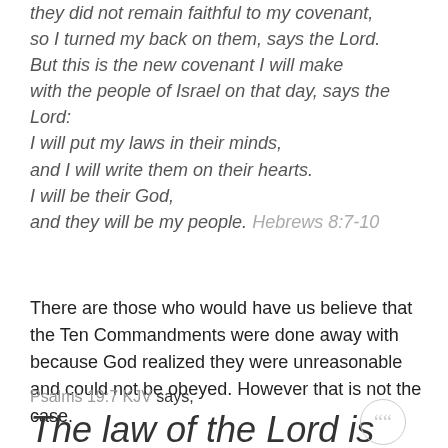they did not remain faithful to my covenant, so I turned my back on them, says the Lord. But this is the new covenant I will make with the people of Israel on that day, says the Lord: I will put my laws in their minds, and I will write them on their hearts. I will be their God, and they will be my people. Hebrews 8:7-10
There are those who would have us believe that the Ten Commandments were done away with because God realized they were unreasonable and could not be obeyed. However that is not the case.
Psalms 19:7 KJV says,
The law of the Lord is